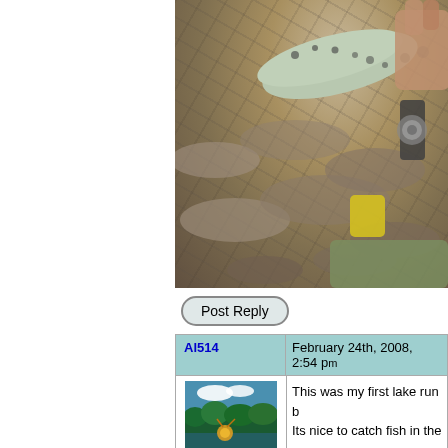[Figure (photo): Person holding a trout fish over rocky riverbank, with yellow object and green waders visible]
Post Reply
Al514   February 24th, 2008, 2:54 pm
[Figure (photo): Avatar image showing fly fishing scene on a lake with trees in background]
Central New York
This was my first lake run b... Its nice to catch fish in the m...